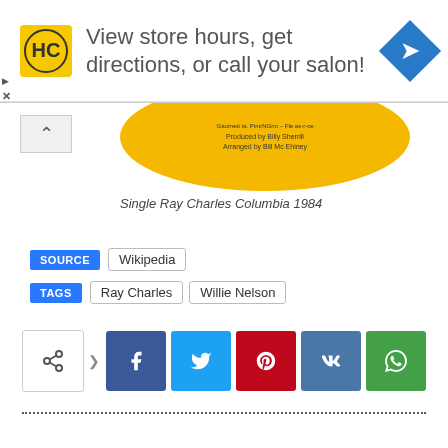[Figure (infographic): Advertisement banner: HC logo in yellow square, text 'View store hours, get directions, or call your salon!', blue diamond arrow icon on right]
[Figure (photo): Partial view of a yellow vinyl record with text: 'Produced by Billy Sherrill, Arranged by Bill Mc Ehiney']
Single Ray Charles Columbia 1984
SOURCE   Wikipedia
TAGS   Ray Charles   Willie Nelson
[Figure (infographic): Social share buttons: share icon, forward arrow, Facebook, Twitter, Pinterest, VK, WhatsApp]